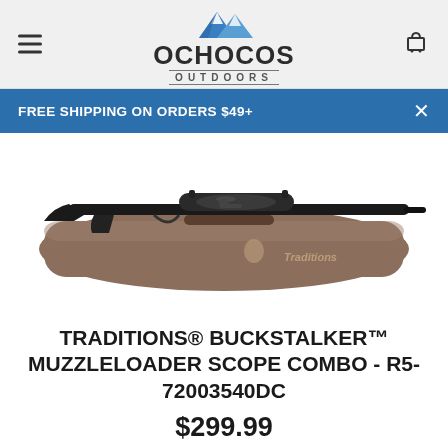Ochocos Outdoors – navigation header with menu icon, logo, and cart icon
FREE SHIPPING ON ORDERS $49+
[Figure (photo): Product photo of Traditions Buckstalker muzzleloader rifle with scope combo, shown alongside a brown Traditions branded rifle case]
TRADITIONS® BUCKSTALKER™ MUZZLELOADER SCOPE COMBO - R5-72003540DC
$299.99